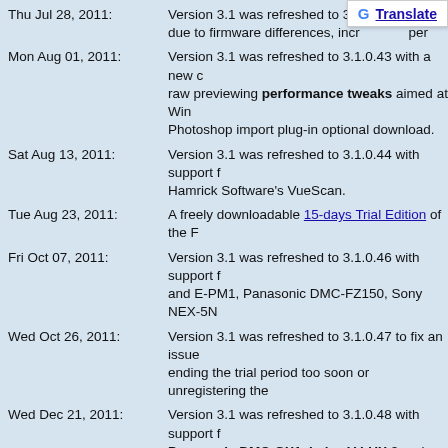Thu Jul 28, 2011: Version 3.1 was refreshed to 3.1. due to firmware differences, incr per
Mon Aug 01, 2011: Version 3.1 was refreshed to 3.1.0.43 with a new c raw previewing performance tweaks aimed at Win Photoshop import plug-in optional download.
Sat Aug 13, 2011: Version 3.1 was refreshed to 3.1.0.44 with support Hamrick Software's VueScan.
Tue Aug 23, 2011: A freely downloadable 15-days Trial Edition of the F
Fri Oct 07, 2011: Version 3.1 was refreshed to 3.1.0.46 with support and E-PM1, Panasonic DMC-FZ150, Sony NEX-5N
Wed Oct 26, 2011: Version 3.1 was refreshed to 3.1.0.47 to fix an issue ending the trial period too soon or unregistering the
Wed Dec 21, 2011: Version 3.1 was refreshed to 3.1.0.48 with support Panasonic DMC-GX1, Leica V-LUX 3 and Samsu can be opted-out during setup (to avoid conflicts wi Codec Pack installer now remembers previous feat
Fri Jan 06, 2012: Version 3.1 was refreshed to 3.1.0.49 to fix a bug in quality) 4:1:1 chroma subsampling. Oddly enough, Nikon had the strange idea to publish one of the (e
Mon Jan 09, 2012: Version 3.1 was refreshed to 3.1.0.50 to work around found in some files (typically out-of-camera JPEG f failing to keep metadata in sync with the actual data
Sat Jan 14, 2012: Version 3.1 was refreshed to 3.1.0.51 to resolve occ